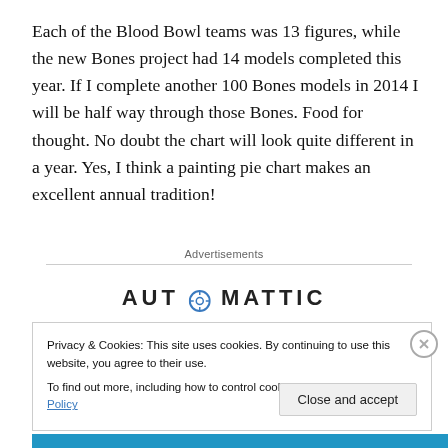Each of the Blood Bowl teams was 13 figures, while the new Bones project had 14 models completed this year. If I complete another 100 Bones models in 2014 I will be half way through those Bones. Food for thought. No doubt the chart will look quite different in a year. Yes, I think a painting pie chart makes an excellent annual tradition!
Advertisements
[Figure (logo): Automattic logo with circular target icon replacing the letter O]
Privacy & Cookies: This site uses cookies. By continuing to use this website, you agree to their use.
To find out more, including how to control cookies, see here: Cookie Policy
Close and accept